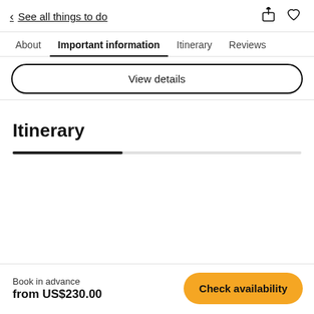< See all things to do
About  Important information  Itinerary  Reviews
View details
Itinerary
Book in advance
from US$230.00
Check availability